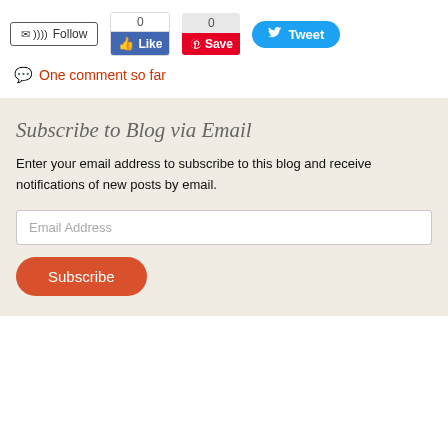[Figure (screenshot): Social sharing buttons row: Follow button (email/RSS icons), Facebook Like widget with count 0, Pinterest Save widget with count 0, Twitter Tweet button]
One comment so far
Subscribe to Blog via Email
Enter your email address to subscribe to this blog and receive notifications of new posts by email.
[Figure (screenshot): Email address input field with placeholder text 'Email Address']
[Figure (screenshot): Orange rounded Subscribe button]